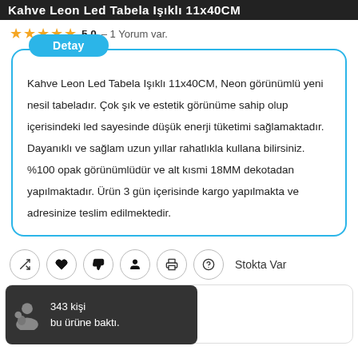Kahve Leon Led Tabela Işıklı 11x40CM
5.0 – 1 Yorum var.
Kahve Leon Led Tabela Işıklı 11x40CM, Neon görünümlü yeni nesil tabeladır. Çok şık ve estetik görünüme sahip olup içerisindeki led sayesinde düşük enerji tüketimi sağlamaktadır. Dayanıklı ve sağlam uzun yıllar rahatlıkla kullana bilirsiniz. %100 opak görünümlüdür ve alt kısmi 18MM dekotadan yapılmaktadır. Ürün 3 gün içerisinde kargo yapılmakta ve adresinize teslim edilmektedir.
Stokta Var
343 kişi bu ürüne baktı.
928,54 TL